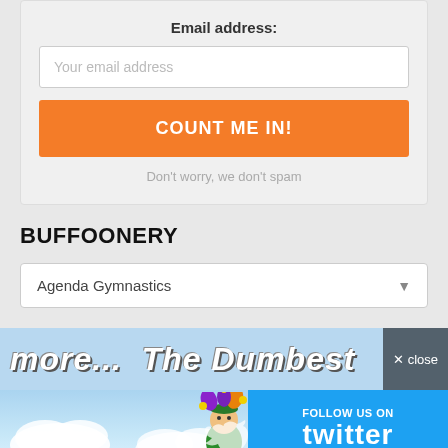Email address:
Your email address
COUNT ME IN!
Don't worry, we don't spam
BUFFOONERY
Agenda Gymnastics
[Figure (screenshot): Partial view of a webpage banner showing italic bold white text on blue background reading 'more...' and 'The Dumbest' with orange lettering below, plus a close button]
[Figure (infographic): Twitter follow banner with blue sky and clouds background, a cartoon jester/clown figure, Twitter bird logo, and text 'FOLLOW US ON twitter' on a blue background on the right side]